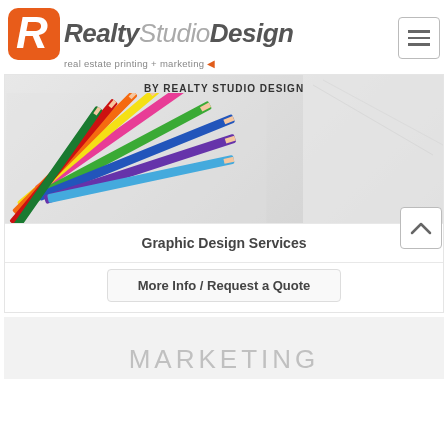[Figure (logo): RealtyStudioDesign logo with orange R icon and tagline 'real estate printing + marketing']
[Figure (photo): Colorful pencils scattered on white paper with text 'BY REALTY STUDIO DESIGN' overlay]
Graphic Design Services
More Info / Request a Quote
[Figure (photo): Partial bottom card showing 'MARKETING' text on light gray background]